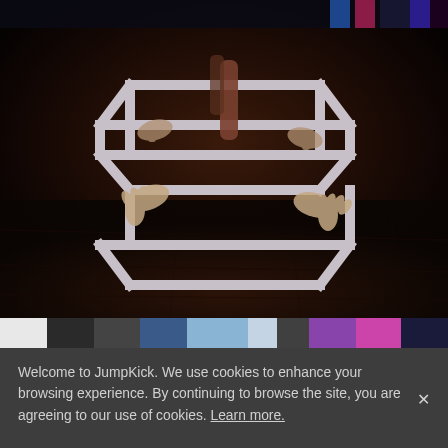[Figure (photo): A large stylized impossible cube / Penrose cube frame structure held by hands emerging from the background, photographed on a dark wooden floor with dramatic lighting. Dark moody cinematic scene.]
[Figure (photo): A horizontal thumbnail strip of small preview images in various colors including white, dark, blue, purple and magenta tones.]
Welcome to JumpKick. We use cookies to enhance your browsing experience. By continuing to browse the site, you are agreeing to our use of cookies. Learn more.